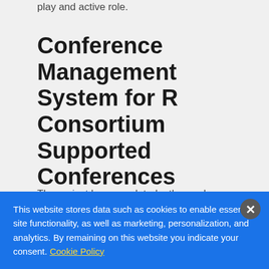play and active role.
Conference Management System for R Consortium Supported Conferences
The project has completed a thorough evaluation of different open source solutions for managing R conferences, and is now compiling a report to facilitate next steps.
This website stores data such as cookies to enable essential site functionality, as well as marketing, personalization, and analytics. By remaining on this website you indicate your consent. Cookie Policy